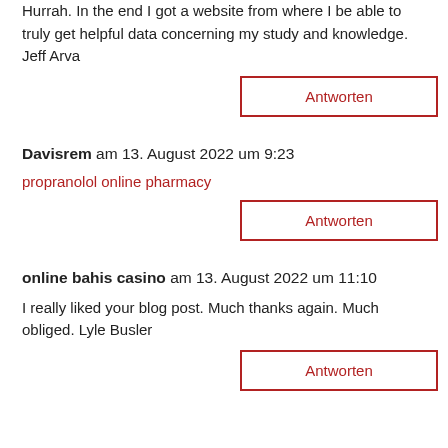Hurrah. In the end I got a website from where I be able to truly get helpful data concerning my study and knowledge. Jeff Arva
Antworten
Davisrem am 13. August 2022 um 9:23
propranolol online pharmacy
Antworten
online bahis casino am 13. August 2022 um 11:10
I really liked your blog post. Much thanks again. Much obliged. Lyle Busler
Antworten